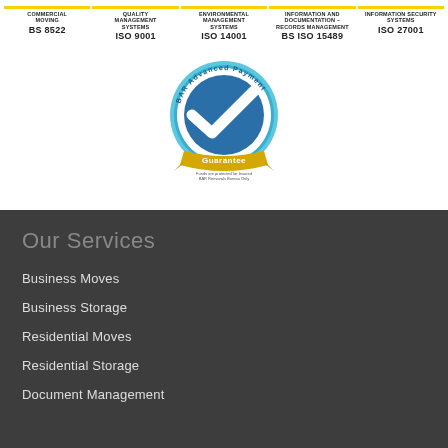[Figure (infographic): Five certification badges in a row: COMMERCIAL MOVING BS 8522, QUALITY MANAGEMENT SYSTEMS ISO 9001, ENVIRONMENTAL MANAGEMENT SYSTEMS ISO 14001, INFORMATION AND DOCUMENTATION - RECORDS MANAGEMENT BS ISO 15489, INFORMATION SECURITY SYSTEMS ISO 27001. Each has a yellow underline.]
[Figure (logo): BAR Advanced Payment Guarantee circular badge with blue checkmark and gold ribbon banner.]
Our Services
Business Moves
Business Storage
Residential Moves
Residential Storage
Document Management